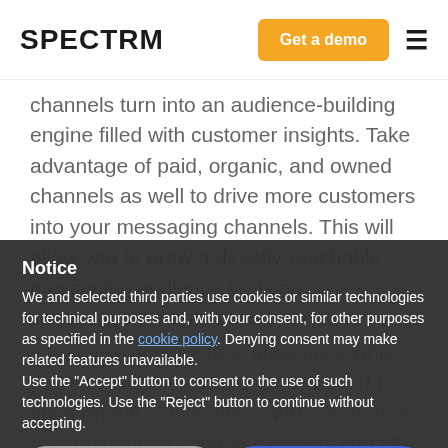SPECTRM
channels turn into an audience-building engine filled with customer insights. Take advantage of paid, organic, and owned channels as well to drive more customers into your messaging channels. This will allow you to grow a directly-reachable messaging audience you can continuously monetize in order to...
Notice

We and selected third parties use cookies or similar technologies for technical purposes and, with your consent, for other purposes as specified in the cookie policy. Denying consent may make related features unavailable.
Use the "Accept" button to consent to the use of such technologies. Use the "Reject" button to continue without accepting.
...can also acquire new audiences while you can engage, qualify, and convert to drive repeat conversions with one-to-one re-engagement, increase loyalty, and lift customer lifetime value with your personalized approach.
Learn more and customize
#4: Taking ac... ases through the right messaging channels